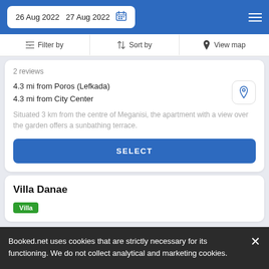26 Aug 2022  27 Aug 2022
Filter by  Sort by  View map
2 reviews
4.3 mi from Poros (Lefkada)
4.3 mi from City Center
Situated 3 km from the centre of Meganisi, the apartment with a view over the garden offers a sunbathing terrace.
SELECT
Villa Danae
Villa
Booked.net uses cookies that are strictly necessary for its functioning. We do not collect analytical and marketing cookies.